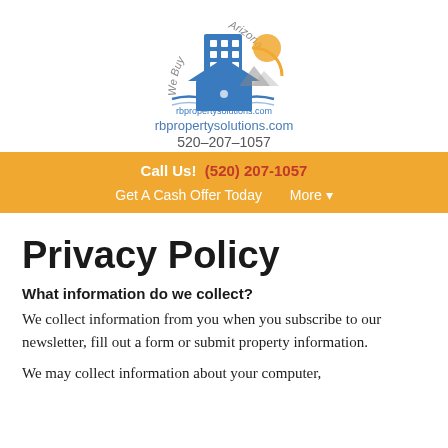[Figure (logo): RB Property Solutions logo with building, house, sun, and text 'We Buy Arizona', rbpropertysolutions.com, 520-207-1057]
Call Us! (520) 207-1057
Get A Cash Offer Today   More ▾
Privacy Policy
What information do we collect?
We collect information from you when you subscribe to our newsletter, fill out a form or submit property information.
We may collect information about your computer,